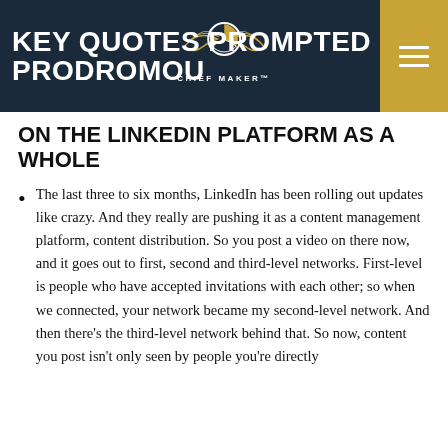KEY QUOTES PROMPTED PRODROMOU
ON THE LINKEDIN PLATFORM AS A WHOLE
The last three to six months, LinkedIn has been rolling out updates like crazy. And they really are pushing it as a content management platform, content distribution. So you post a video on there now, and it goes out to first, second and third-level networks. First-level is people who have accepted invitations with each other; so when we connected, your network became my second-level network. And then there's the third-level network behind that. So now, content you post isn't only seen by people you're directly